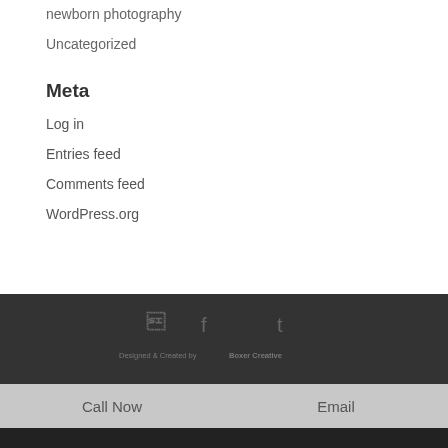newborn photography
Uncategorized
Meta
Log in
Entries feed
Comments feed
WordPress.org
Designed & Created by Boxer Creative
Call Now   Email